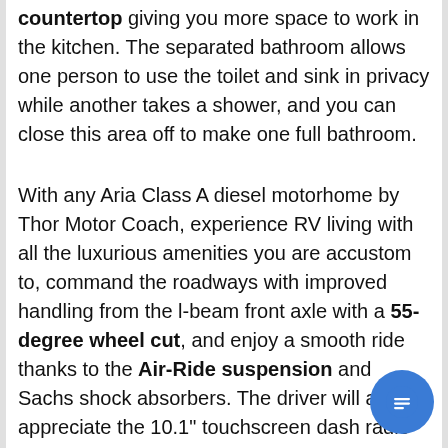countertop giving you more space to work in the kitchen. The separated bathroom allows one person to use the toilet and sink in privacy while another takes a shower, and you can close this area off to make one full bathroom.
With any Aria Class A diesel motorhome by Thor Motor Coach, experience RV living with all the luxurious amenities you are accustom to, command the roadways with improved handling from the l-beam front axle with a 55-degree wheel cut, and enjoy a smooth ride thanks to the Air-Ride suspension and Sachs shock absorbers. The driver will also appreciate the 10.1" touchscreen dash radio with Bluetooth, navig… and Sirius/XM prep when navigating the roads, and the comfort of the leatherette reclining/swivel